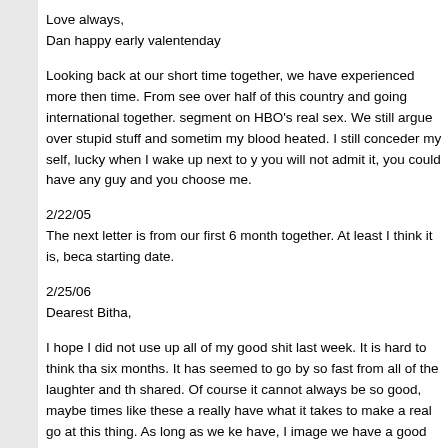Love always,
Dan happy early valentenday
Looking back at our short time together, we have experienced more then time. From see over half of this country and going international together. segment on HBO's real sex. We still argue over stupid stuff and sometim my blood heated. I still conceder my self, lucky when I wake up next to y you will not admit it, you could have any guy and you choose me.
2/22/05
The next letter is from our first 6 month together. At least I think it is, beca starting date.
2/25/06
Dearest Bitha,
I hope I did not use up all of my good shit last week. It is hard to think tha six months. It has seemed to go by so fast from all of the laughter and th shared. Of course it cannot always be so good, maybe times like these a really have what it takes to make a real go at this thing. As long as we ke have, I image we have a good shot.
We probably should be making a special evening of this anniversary, but not right, but as long as we keep thinking about each other it will be a sp days that I just stop to think what a lucky man I am to have you in my life Even through we will not be spending the night together, I will be laying i